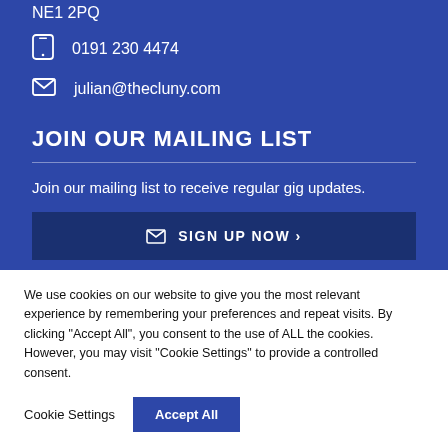NE1 2PQ
0191 230 4474
julian@thecluny.com
JOIN OUR MAILING LIST
Join our mailing list to receive regular gig updates.
SIGN UP NOW ›
We use cookies on our website to give you the most relevant experience by remembering your preferences and repeat visits. By clicking "Accept All", you consent to the use of ALL the cookies. However, you may visit "Cookie Settings" to provide a controlled consent.
Cookie Settings
Accept All